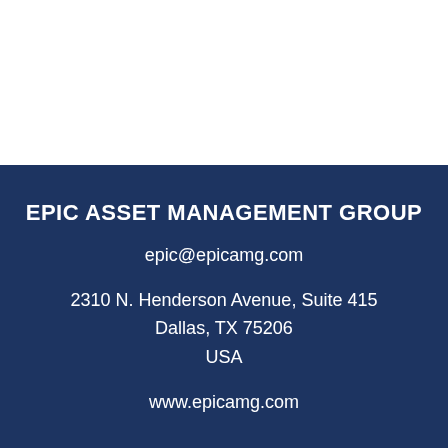EPIC ASSET MANAGEMENT GROUP
epic@epicamg.com
2310 N. Henderson Avenue, Suite 415
Dallas, TX 75206
USA
www.epicamg.com